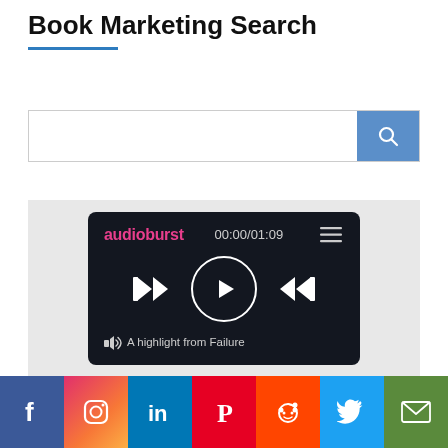Book Marketing Search
[Figure (screenshot): Audioburst audio player widget showing 00:00/01:09 timestamp, play/pause controls, rewind and fast forward buttons, and caption 'A highlight from Failure...']
[Figure (infographic): Social media share bar with icons for Facebook, Instagram, LinkedIn, Pinterest, Reddit, Twitter, and Email]